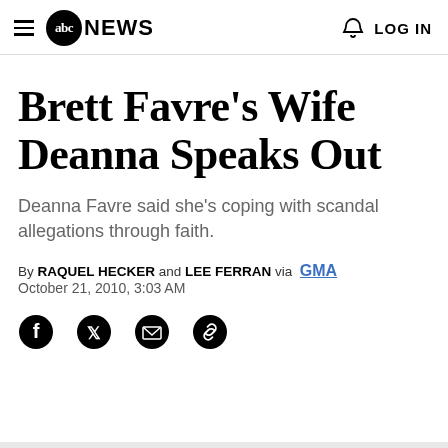abc NEWS   LOG IN
Brett Favre's Wife Deanna Speaks Out
Deanna Favre said she's coping with scandal allegations through faith.
By RAQUEL HECKER and LEE FERRAN via GMA
October 21, 2010, 3:03 AM
[Figure (infographic): Social sharing icons: Facebook, Twitter, Email, Link]